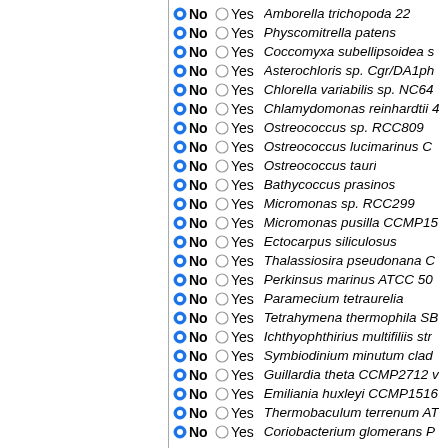No Yes Amborella trichopoda 22
No Yes Physcomitrella patens
No Yes Coccomyxa subellipsoidea s
No Yes Asterochloris sp. Cgr/DA1ph
No Yes Chlorella variabilis sp. NC64
No Yes Chlamydomonas reinhardtii 4
No Yes Ostreococcus sp. RCC809
No Yes Ostreococcus lucimarinus C
No Yes Ostreococcus tauri
No Yes Bathycoccus prasinos
No Yes Micromonas sp. RCC299
No Yes Micromonas pusilla CCMP15
No Yes Ectocarpus siliculosus
No Yes Thalassiosira pseudonana C
No Yes Perkinsus marinus ATCC 50
No Yes Paramecium tetraurelia
No Yes Tetrahymena thermophila SB
No Yes Ichthyophthirius multifiliis str
No Yes Symbiodinium minutum clad
No Yes Guillardia theta CCMP2712 v
No Yes Emiliania huxleyi CCMP1516
No Yes Thermobaculum terrenum AT
No Yes Coriobacterium glomerans P